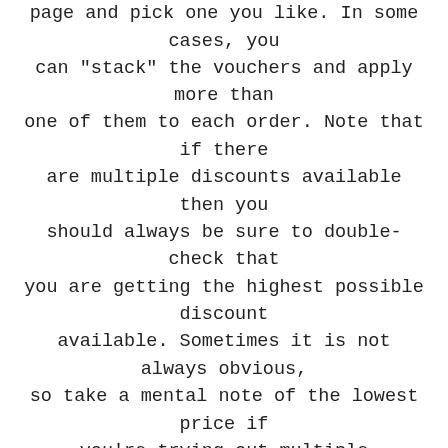page and pick one you like. In some cases, you can "stack" the vouchers and apply more than one of them to each order. Note that if there are multiple discounts available then you should always be sure to double-check that you are getting the highest possible discount available. Sometimes it is not always obvious, so take a mental note of the lowest price if you're trying out multiple discounts.
[Figure (screenshot): Cookie consent overlay banner with orange/peach background. Text reads: 'We use cookies to monitor sales, clicks and marketing performance as well as to optimise & improve the experiences that you receive.' with a 'Learn more' underlined link and a 'GOT IT!' button.]
et s ply, e hat ck ve